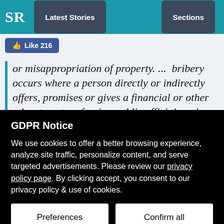SR | Latest Stories | Sections
[Figure (screenshot): Facebook Like button showing 216 likes]
or misappropriation of property. ...  bribery occurs where a person directly or indirectly offers, promises or gives a financial or other advantage to a foreign public official, and where the person
GDPR Notice
We use cookies to offer a better browsing experience, analyze site traffic, personalize content, and serve targeted advertisements. Please review our privacy policy page. By clicking accept, you consent to our privacy policy & use of cookies.
Preferences | Confirm all